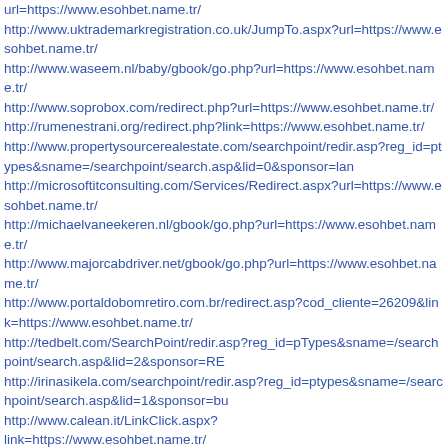url=https://www.esohbet.name.tr/
http://www.uktrademarkregistration.co.uk/JumpTo.aspx?url=https://www.esohbet.name.tr/
http://www.waseem.nl/baby/gbook/go.php?url=https://www.esohbet.name.tr/
http://www.soprobox.com/redirect.php?url=https://www.esohbet.name.tr/
http://rumenestrani.org/redirect.php?link=https://www.esohbet.name.tr/
http://www.propertysourcerealestate.com/searchpoint/redir.asp?reg_id=ptypes&sname=/searchpoint/search.asp&lid=0&sponsor=lan
http://microsoftitconsulting.com/Services/Redirect.aspx?url=https://www.esohbet.name.tr/
http://michaelvaneekeren.nl/gbook/go.php?url=https://www.esohbet.name.tr/
http://www.majorcabdriver.net/gbook/go.php?url=https://www.esohbet.name.tr/
http://www.portaldobomretiro.com.br/redirect.asp?cod_cliente=26209&link=https://www.esohbet.name.tr/
http://tedbelt.com/SearchPoint/redir.asp?reg_id=pTypes&sname=/searchpoint/search.asp&lid=2&sponsor=RE
http://irinasikela.com/searchpoint/redir.asp?reg_id=ptypes&sname=/searchpoint/search.asp&lid=1&sponsor=bu
http://www.calean.it/LinkClick.aspx?link=https://www.esohbet.name.tr/